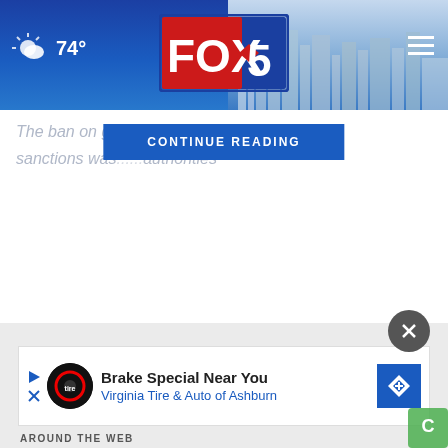FOX 5 | 74°
The ban on go...ntion sanctions was...authorities
CONTINUE READING
[Figure (screenshot): FOX 5 news website screenshot showing header with weather (74°), FOX 5 logo, skyline background, a 'CONTINUE READING' button overlay, and an advertisement banner at the bottom for 'Brake Special Near You - Virginia Tire & Auto of Ashburn']
Brake Special Near You
Virginia Tire & Auto of Ashburn
AROUND THE WEB